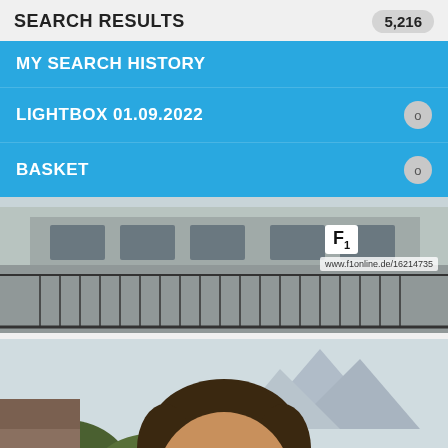SEARCH RESULTS  5,216
MY SEARCH HISTORY
LIGHTBOX 01.09.2022  0
BASKET  0
[Figure (photo): Photo of a building exterior with balconies and railings, showing F1 logo watermark and text www.f1online.de/16214735]
[Figure (photo): Photo of a smiling young man with round glasses, dark curly hair and beard, outdoors with green trees and mountains in background]